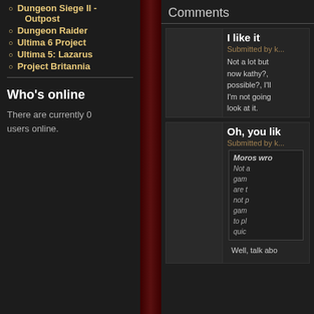Dungeon Siege II - Outpost
Dungeon Raider
Ultima 6 Project
Ultima 5: Lazarus
Project Britannia
Who's online
There are currently 0 users online.
Comments
I like it
Submitted by
Not a lot but now kathy?, possible?, I'll I'm not going look at it.
Oh, you lik
Submitted by
Moros wro
Not a gam are t not p gam to pl quic
Well, talk abo